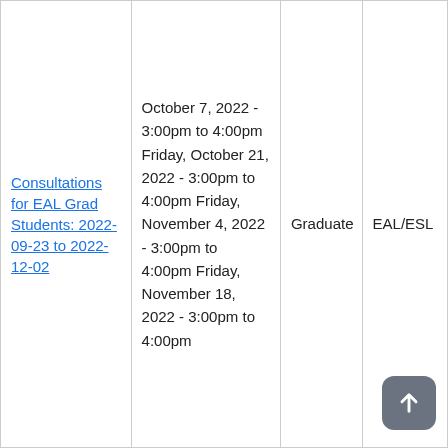| Title | Dates | Level | Type |
| --- | --- | --- | --- |
| Consultations for EAL Grad Students: 2022-09-23 to 2022-12-02 | October 7, 2022 - 3:00pm to 4:00pm Friday, October 21, 2022 - 3:00pm to 4:00pm Friday, November 4, 2022 - 3:00pm to 4:00pm Friday, November 18, 2022 - 3:00pm to 4:00pm | Graduate | EAL/ESL |